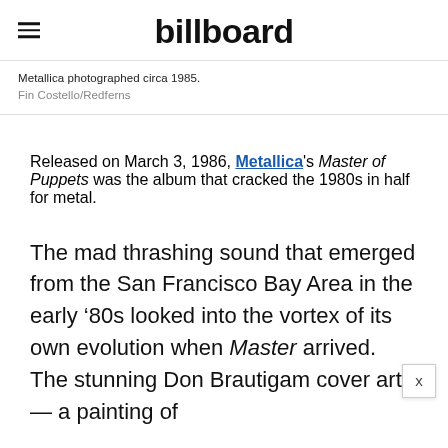billboard
Metallica photographed circa 1985.
Fin Costello/Redferns
Released on March 3, 1986, Metallica's Master of Puppets was the album that cracked the 1980s in half for metal.
The mad thrashing sound that emerged from the San Francisco Bay Area in the early ’80s looked into the vortex of its own evolution when Master arrived. The stunning Don Brautigam cover art — a painting of